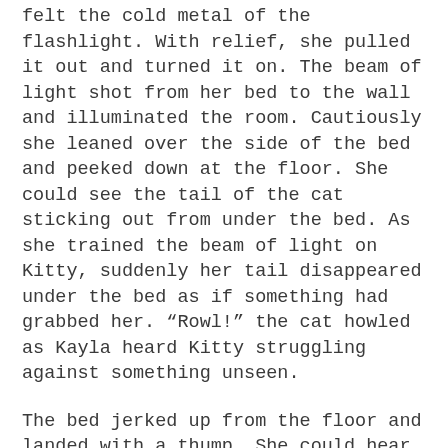felt the cold metal of the flashlight. With relief, she pulled it out and turned it on. The beam of light shot from her bed to the wall and illuminated the room. Cautiously she leaned over the side of the bed and peeked down at the floor. She could see the tail of the cat sticking out from under the bed. As she trained the beam of light on Kitty, suddenly her tail disappeared under the bed as if something had grabbed her. “Rowl!” the cat howled as Kayla heard Kitty struggling against something unseen.
The bed jerked up from the floor and landed with a thump. She could hear hissing and growling as the cat fought against some unseen terror and she lay frozen in fear. Another thump and the